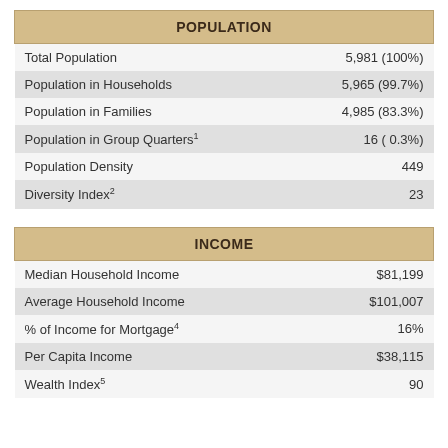| POPULATION |  |
| --- | --- |
| Total Population | 5,981 (100%) |
| Population in Households | 5,965 (99.7%) |
| Population in Families | 4,985 (83.3%) |
| Population in Group Quarters¹ | 16 ( 0.3%) |
| Population Density | 449 |
| Diversity Index² | 23 |
| INCOME |  |
| --- | --- |
| Median Household Income | $81,199 |
| Average Household Income | $101,007 |
| % of Income for Mortgage⁴ | 16% |
| Per Capita Income | $38,115 |
| Wealth Index⁵ | 90 |